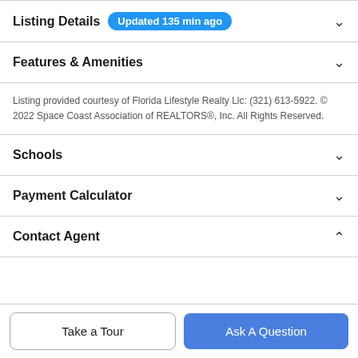Listing Details — Updated 135 min ago
Features & Amenities
Listing provided courtesy of Florida Lifestyle Realty Llc: (321) 613-5922. © 2022 Space Coast Association of REALTORS®, Inc. All Rights Reserved.
Schools
Payment Calculator
Contact Agent
Take a Tour
Ask A Question